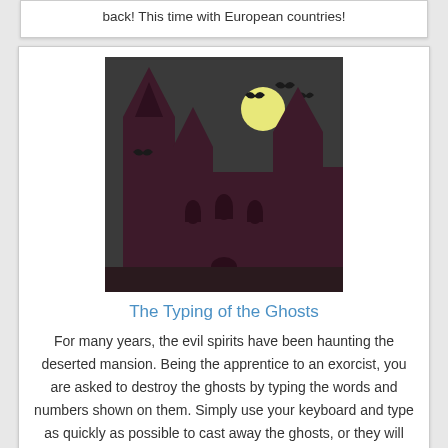back! This time with European countries!
[Figure (illustration): A dark haunted castle at night with a full yellow moon and bats flying against a dark gray sky.]
The Typing of the Ghosts
For many years, the evil spirits have been haunting the deserted mansion. Being the apprentice to an exorcist, you are asked to destroy the ghosts by typing the words and numbers shown on them. Simply use your keyboard and type as quickly as possible to cast away the ghosts, or they will approach and claw you. If you have typed a wrong word, you may press the Backspace key to cancel it. You will start with 5 lives as shown at the top left corner, but when you are